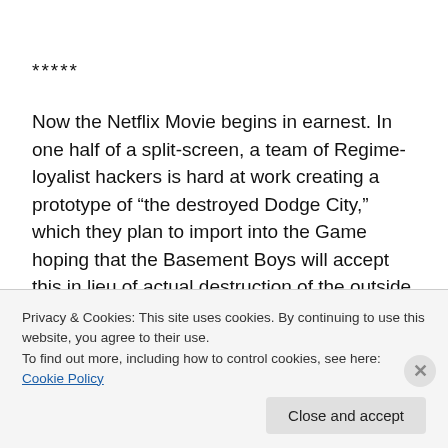*****
Now the Netflix Movie begins in earnest. In one half of a split-screen, a team of Regime-loyalist hackers is hard at work creating a prototype of “the destroyed Dodge City,” which they plan to import into the Game hoping that the Basement Boys will accept this in lieu of actual destruction of the outside world. (“I mean, if they live full-time in the Game anyway,” one of the hackers says, “how will they
Privacy & Cookies: This site uses cookies. By continuing to use this website, you agree to their use.
To find out more, including how to control cookies, see here: Cookie Policy